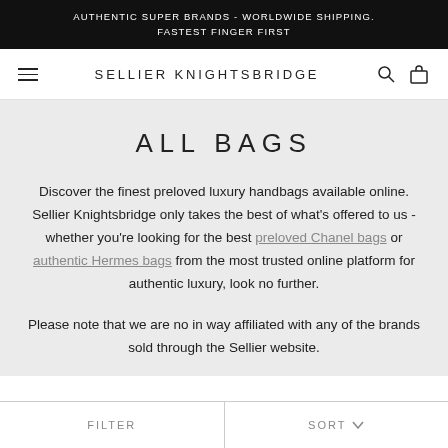AUTHENTIC SUPER BRANDS - WORLDWIDE SHIPPING. FASTEST FINGER FIRST
ALL BAGS
Discover the finest preloved luxury handbags available online. Sellier Knightsbridge only takes the best of what's offered to us - whether you're looking for the best preloved Chanel bags or authentic Hermes bags from the most trusted online platform for authentic luxury, look no further.
Please note that we are no in way affiliated with any of the brands sold through the Sellier website.